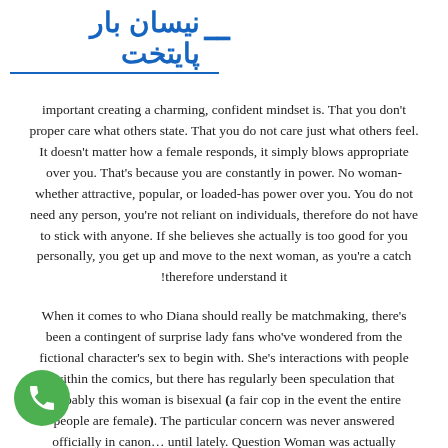نیسان بار پایتخت
important creating a charming, confident mindset is. That you don't proper care what others state. That you do not care just what others feel. It doesn't matter how a female responds, it simply blows appropriate over you. That's because you are constantly in power. No woman whether attractive, popular, or loaded has power over you. You do not need any person, you're not reliant on individuals, therefore do not have to stick with anyone. If she believes she actually is too good for you personally, you get up and move to the next woman, as you're a catch !therefore understand it
When it comes to who Diana should really be matchmaking, there's been a contingent of surprise lady fans who've wondered from the fictional character's sex to begin with. She's interactions with people within the comics, but there has regularly been speculation that probably this woman is bisexual (a fair cop in the event the entire people are female). The particular concern was never answered officially in canon… until lately. Question Woman was actually atured in a current problem of Batwoman and she produced a point of bunking specific myths about herself, one among these getting that actually is a a^?Sister of Sappho,a^? This becoming a poetic way of stating a^?lesbian,a^? this indicates since the DC Comics has chosen to